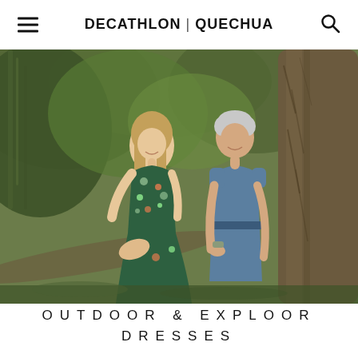DECATHLON | QUECHUA
[Figure (photo): Two women smiling and leaning against a large tree in a lush green forest. The younger woman on the left wears a floral/tropical print dress in green. The older woman on the right wears a plain slate-blue short-sleeve dress with a belt.]
OUTDOOR & EXPLOOR DRESSES